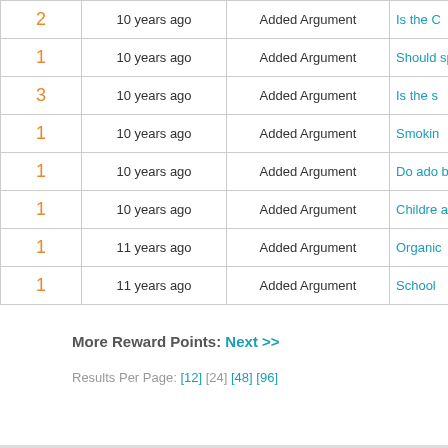| Points | Time | Action | Link |
| --- | --- | --- | --- |
| 2 | 10 years ago | Added Argument | Is the C |
| 1 | 10 years ago | Added Argument | Should sponso |
| 3 | 10 years ago | Added Argument | Is the s |
| 1 | 10 years ago | Added Argument | Smokin |
| 1 | 10 years ago | Added Argument | Do ado biologic |
| 1 | 10 years ago | Added Argument | Childre as Succ |
| 1 | 11 years ago | Added Argument | Organic |
| 1 | 11 years ago | Added Argument | School |
More Reward Points: Next >>
Results Per Page: [12] [24] [48] [96]